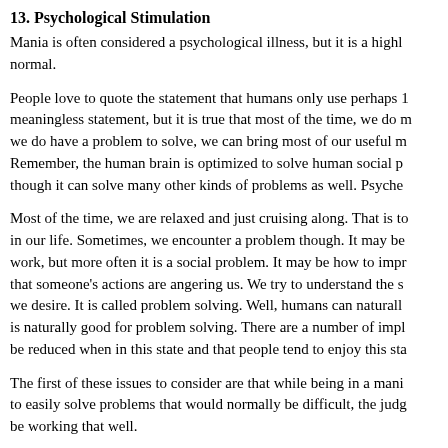13. Psychological Stimulation
Mania is often considered a psychological illness, but it is a highly normal.
People love to quote the statement that humans only use perhaps meaningless statement, but it is true that most of the time, we do n we do have a problem to solve, we can bring most of our useful m Remember, the human brain is optimized to solve human social p though it can solve many other kinds of problems as well. Psyche
Most of the time, we are relaxed and just cruising along. That is to in our life. Sometimes, we encounter a problem though. It may be work, but more often it is a social problem. It may be how to impr that someone's actions are angering us. We try to understand the s we desire. It is called problem solving. Well, humans can naturall is naturally good for problem solving. There are a number of impl be reduced when in this state and that people tend to enjoy this sta
The first of these issues to consider are that while being in a mani to easily solve problems that would normally be difficult, the judg be working that well.
A good example of this might be a social problem where a person a particular reason, maybe they feel insulted by something the per naturally stimulated mental state, mildly manic perhaps stimulate